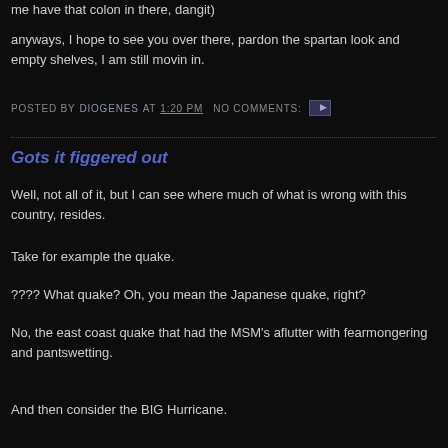me have that colon in there, dangit)
anyways, I hope to see you over there, pardon the spartan look and empty shelves, I am still movin in.
POSTED BY DIOGENES AT 1:20 PM  NO COMMENTS:
Gots it figgered out
Well, not all of it, but I can see where much of what is wrong with this country, resides.
Take for example the quake.
???? What quake? Oh, you mean the Japanese quake, right?
No, the east coast quake that had the MSM's aflutter with fearmongering and pantswetting.
And then consider the BIG Hurricane.